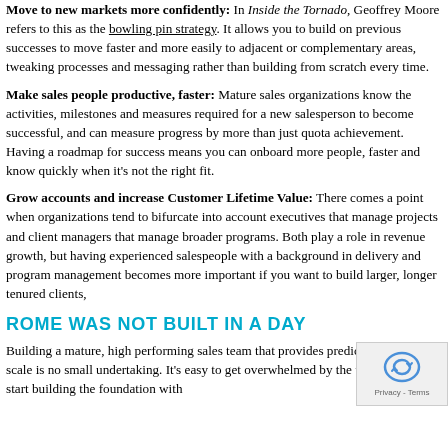Move to new markets more confidently: In Inside the Tornado, Geoffrey Moore refers to this as the bowling pin strategy. It allows you to build on previous successes to move faster and more easily to adjacent or complementary areas, tweaking processes and messaging rather than building from scratch every time.
Make sales people productive, faster: Mature sales organizations know the activities, milestones and measures required for a new salesperson to become successful, and can measure progress by more than just quota achievement. Having a roadmap for success means you can onboard more people, faster and know quickly when it's not the right fit.
Grow accounts and increase Customer Lifetime Value: There comes a point when organizations tend to bifurcate into account executives that manage projects and client managers that manage broader programs. Both play a role in revenue growth, but having experienced salespeople with a background in delivery and program management becomes more important if you want to build larger, longer tenured clients,
ROME WAS NOT BUILT IN A DAY
Building a mature, high performing sales team that provides predictability and scale is no small undertaking. It's easy to get overwhelmed by the task at hand so start building the foundation with